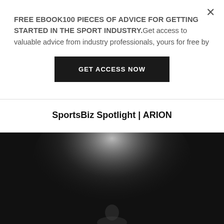FREE EBOOK100 PIECES OF ADVICE FOR GETTING STARTED IN THE SPORT INDUSTRY.Get access to valuable advice from industry professionals, yours for free by
GET ACCESS NOW
SportsBiz Spotlight | ARION
[Figure (photo): Dark/black and white photograph showing a spotlight or light beam effect against a dark background, appearing to show a person or figure dimly lit from above.]